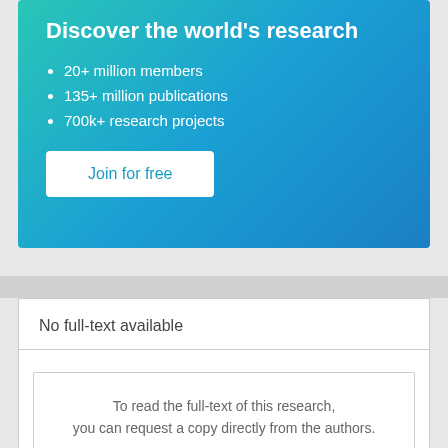Discover the world's research
20+ million members
135+ million publications
700k+ research projects
Join for free
No full-text available
To read the full-text of this research, you can request a copy directly from the authors.